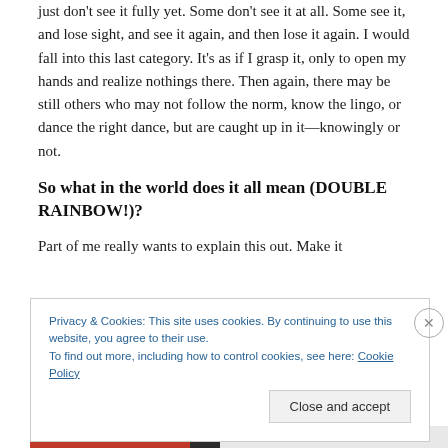just don't see it fully yet. Some don't see it at all. Some see it, and lose sight, and see it again, and then lose it again. I would fall into this last category. It's as if I grasp it, only to open my hands and realize nothings there. Then again, there may be still others who may not follow the norm, know the lingo, or dance the right dance, but are caught up in it—knowingly or not.
So what in the world does it all mean (DOUBLE RAINBOW!)?
Part of me really wants to explain this out. Make it
Privacy & Cookies: This site uses cookies. By continuing to use this website, you agree to their use.
To find out more, including how to control cookies, see here: Cookie Policy